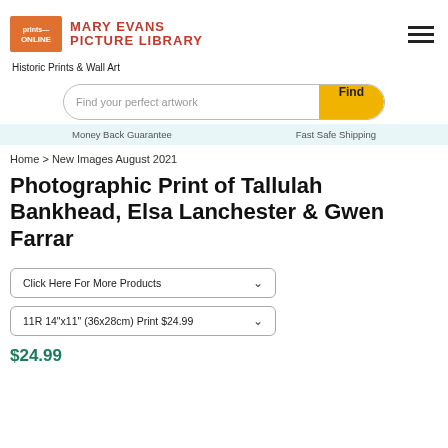Prints Online / Mary Evans Picture Library
Historic Prints & Wall Art
Find your perfect artwork | Find
Money Back Guarantee   Fast Safe Shipping
Home > New Images August 2021
Photographic Print of Tallulah Bankhead, Elsa Lanchester & Gwen Farrar
Click Here For More Products
11R 14"x11" (36x28cm) Print $24.99
$24.99